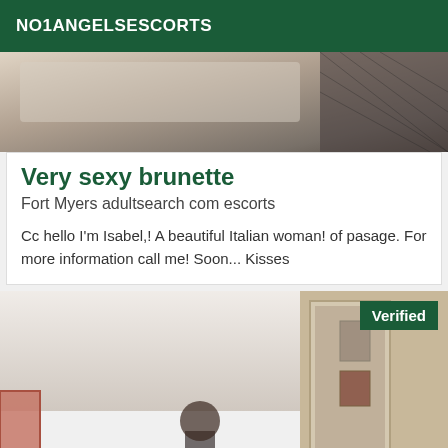NO1ANGELSESCORTS
[Figure (photo): Partial view of a person on a bed with fishnet stockings visible, bedroom setting]
Very sexy brunette
Fort Myers adultsearch com escorts
Cc hello I'm Isabel,! A beautiful Italian woman! of pasage. For more information call me! Soon... Kisses
[Figure (photo): Interior room scene with a person standing, walls with framed pictures, curtains visible. Verified badge in top right corner.]